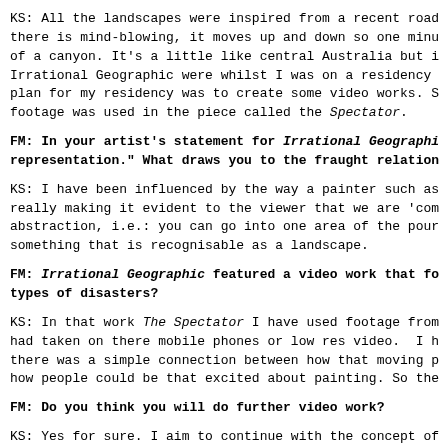KS: All the landscapes were inspired from a recent road there is mind-blowing, it moves up and down so one minu of a canyon. It’s a little like central Australia but i Irrational Geographic were whilst I was on a residency plan for my residency was to create some video works. S footage was used in the piece called the Spectator.
FM: In your artist’s statement for Irrational Geographi representation.” What draws you to the fraught relation
KS: I have been influenced by the way a painter such as really making it evident to the viewer that we are ‘com abstraction, i.e.: you can go into one area of the pour something that is recognisable as a landscape.
FM: Irrational Geographic featured a video work that fo types of disasters?
KS: In that work The Spectator I have used footage from had taken on there mobile phones or low res video. I h there was a simple connection between how that moving p how people could be that excited about painting. So the
FM: Do you think you will do further video work?
KS: Yes for sure. I aim to continue with the concept of